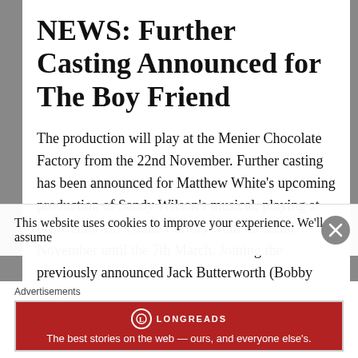NEWS: Further Casting Announced for The Boy Friend
The production will play at the Menier Chocolate Factory from the 22nd November. Further casting has been announced for Matthew White's upcoming production of Sandy Wilson's musical, playing at the Menier Chocolate Factory from the 22nd November until the 7th March. Joining the previously announced Jack Butterworth (Bobby van Husen), Janie Dee (Mme Dubonnet), Adrian
This website uses cookies to improve your experience. We'll assume
Advertisements
[Figure (logo): Longreads advertisement banner: red background with Longreads logo and tagline 'The best stories on the web — ours, and everyone else's.']